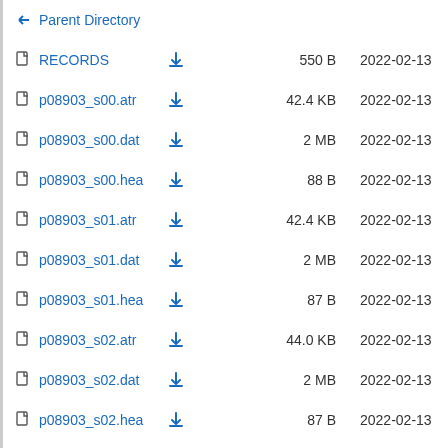Parent Directory
RECORDS  550 B  2022-02-13
p08903_s00.atr  42.4 KB  2022-02-13
p08903_s00.dat  2 MB  2022-02-13
p08903_s00.hea  88 B  2022-02-13
p08903_s01.atr  42.4 KB  2022-02-13
p08903_s01.dat  2 MB  2022-02-13
p08903_s01.hea  87 B  2022-02-13
p08903_s02.atr  44.0 KB  2022-02-13
p08903_s02.dat  2 MB  2022-02-13
p08903_s02.hea  87 B  2022-02-13
p08903_s03.atr  40.4 KB  2022-02-13
p08903_s03.dat  2 MB  2022-02-13
p08903_s03.hea  87 B  2022-02-13